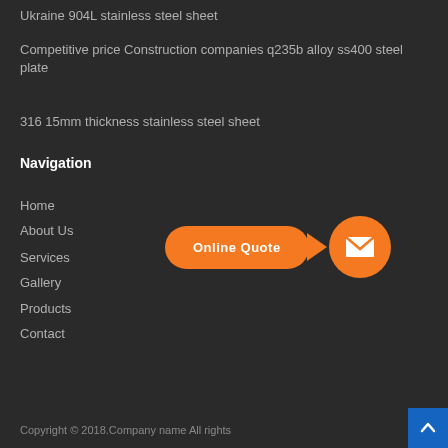Ukraine 904L stainless steel sheet
Competitive price Construction companies q235b alloy ss400 steel plate
316 15mm thickness stainless steel sheet
Navigation
Home
About Us
Services
Gallery
Products
Contact
[Figure (infographic): Orange 'Online Quote' button pill shape with arrow pointing to an orange circle containing a white envelope/mail icon]
Copyright © 2018.Company name All rights